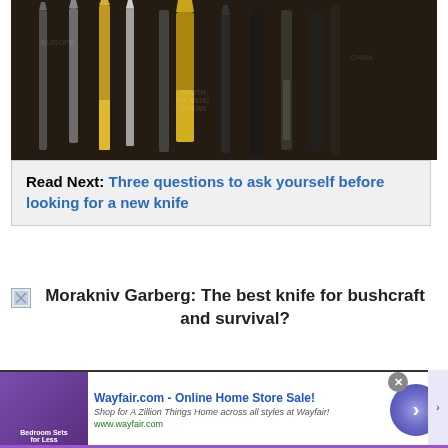[Figure (photo): Multiple folding and fixed-blade knives displayed against a dark world map background, including gold and silver blades]
Read Next: Three questions to ask yourself before looking for a new knife
Morakniv Garberg: The best knife for bushcraft and survival?
[Figure (infographic): Wayfair.com advertisement: Online Home Store Sale! Shop for A Zillion Things Home across all styles at Wayfair! www.wayfair.com]